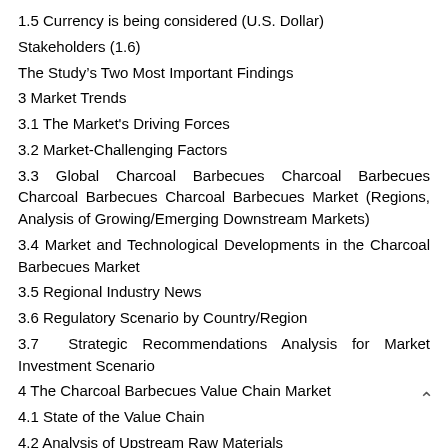1.5 Currency is being considered (U.S. Dollar)
Stakeholders (1.6)
The Study's Two Most Important Findings
3 Market Trends
3.1 The Market's Driving Forces
3.2 Market-Challenging Factors
3.3 Global Charcoal Barbecues Charcoal Barbecues Charcoal Barbecues Charcoal Barbecues Market (Regions, Analysis of Growing/Emerging Downstream Markets)
3.4 Market and Technological Developments in the Charcoal Barbecues Market
3.5 Regional Industry News
3.6 Regulatory Scenario by Country/Region
3.7 Strategic Recommendations Analysis for Market Investment Scenario
4 The Charcoal Barbecues Value Chain Market
4.1 State of the Value Chain
4.2 Analysis of Upstream Raw Materials
4.3 Analysis of Major Midstream Companies (by Manufacturing